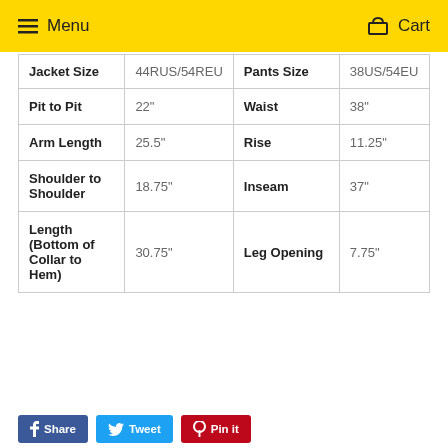Menu  Cart
| Jacket Size | 44RUS/54REU | Pants Size | 38US/54EU |
| Pit to Pit | 22" | Waist | 38" |
| Arm Length | 25.5" | Rise | 11.25" |
| Shoulder to Shoulder | 18.75" | Inseam | 37" |
| Length (Bottom of Collar to Hem) | 30.75" | Leg Opening | 7.75" |
Share
Tweet
Pin it